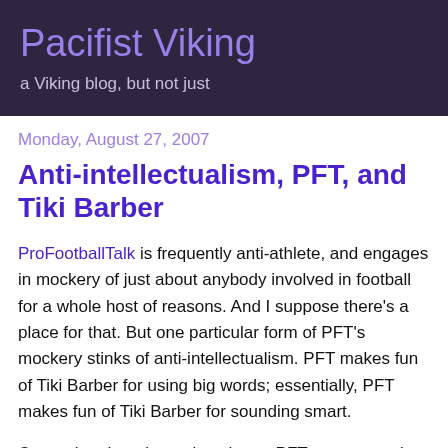Pacifist Viking
a Viking blog, but not just
Monday, August 27, 2007
Anti-intellectualism, PFT, and Tiki Barber
ProFootballTalk is frequently anti-athlete, and engages in mockery of just about anybody involved in football for a whole host of reasons. And I suppose there's a place for that. But one particular form of PFT's mockery stinks of anti-intellectualism. PFT makes fun of Tiki Barber for using big words; essentially, PFT makes fun of Tiki Barber for sounding smart.
Currently, when the main writer at PFT uses a word or phrase that might sound smart, he'll insert "thanks, Tiki" in